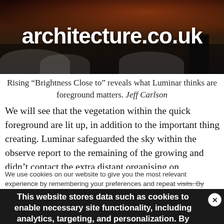[Figure (screenshot): Website header banner for architecture.co.uk showing a dark twilight landscape with trees and a building silhouette, with the site title 'architecture.co.uk' in large white bold text overlaid.]
Rising “Brightness Close to” reveals what Luminar thinks are foreground matters. Jeff Carlson
We will see that the vegetation within the quick foreground are lit up, in addition to the important thing creating. Luminar safeguarded the sky within the observe report to the remaining of the growing and didn’t contact the extra distant organising on
We use cookies on our website to give you the most relevant experience by remembering your preferences and repeat visits. By clicking “Accept All”, you consent to the use of ALL the cookies. However, you may visit “Cookie Settings” to provide a controlled consent.
This website stores data such as cookies to enable necessary site functionality, including analytics, targeting, and personalization. By remaining on this website you indicate your consent Cookie Policy